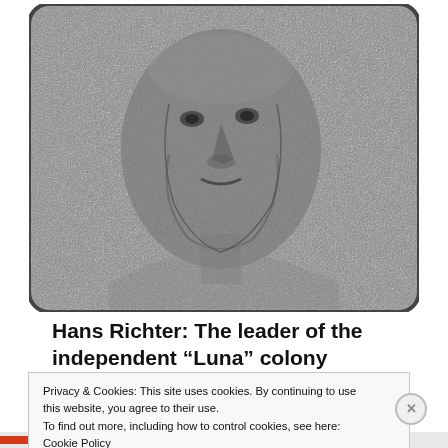[Figure (photo): Grainy black-and-white photograph of a man's face and upper torso displayed on what appears to be a television or monitor screen with rounded corners. The image has a noisy, static-like texture.]
Hans Richter: The leader of the independent “Luna” colony
Privacy & Cookies: This site uses cookies. By continuing to use this website, you agree to their use.
To find out more, including how to control cookies, see here: Cookie Policy
Close and accept